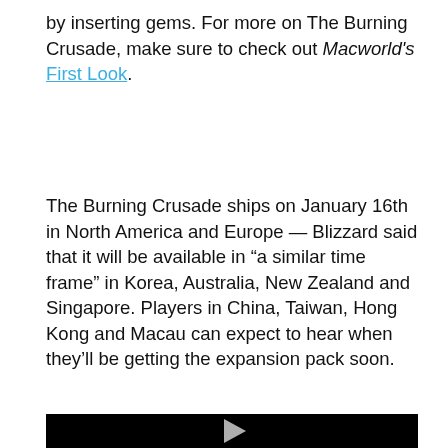by inserting gems. For more on The Burning Crusade, make sure to check out Macworld's First Look.
The Burning Crusade ships on January 16th in North America and Europe — Blizzard said that it will be available in “a similar time frame” in Korea, Australia, New Zealand and Singapore. Players in China, Taiwan, Hong Kong and Macau can expect to hear when they’ll be getting the expansion pack soon.
[Figure (screenshot): Macworld TV banner with blue border and a video player area with black background and a play button triangle]
Macworld TV